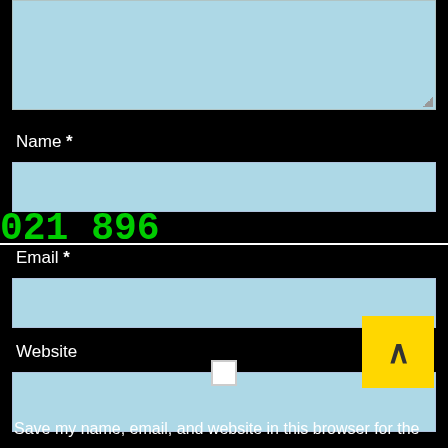[Figure (screenshot): Light blue textarea input field at top of page, partially visible, with resize handle in bottom-right corner]
Name *
[Figure (screenshot): Light blue input field for Name]
021896
Email *
[Figure (screenshot): Light blue input field for Email]
Website
[Figure (screenshot): Light blue input field for Website]
Save my name, email, and website in this browser for the